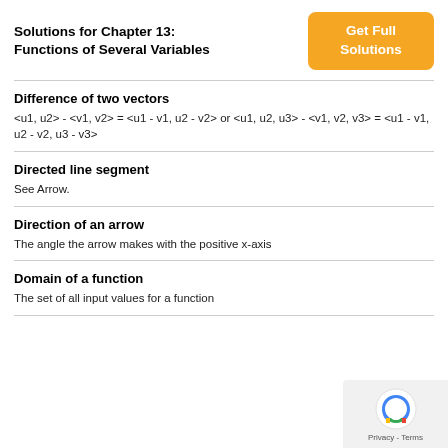Solutions for Chapter 13: Functions of Several Variables
Difference of two vectors
<u1, u2> - <v1, v2> = <u1 - v1, u2 - v2> or <u1, u2, u3> - <v1, v2, v3> = <u1 - v1, u2 - v2, u3 - v3>
Directed line segment
See Arrow.
Direction of an arrow
The angle the arrow makes with the positive x-axis
Domain of a function
The set of all input values for a function